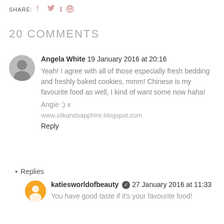SHARE: [social icons]
20 COMMENTS
Angela White  19 January 2016 at 20:16
Yeah! I agree with all of those especially fresh bedding and freshly baked cookies, mmm! Chinese is my favourite food as well, I kind of want some now haha!

Angie :) x

www.silkandsapphire.blogspot.com

Reply
▾  Replies
katiesworldofbeauty ✔ 27 January 2016 at 11:33
You have good taste if it's your favourite food!